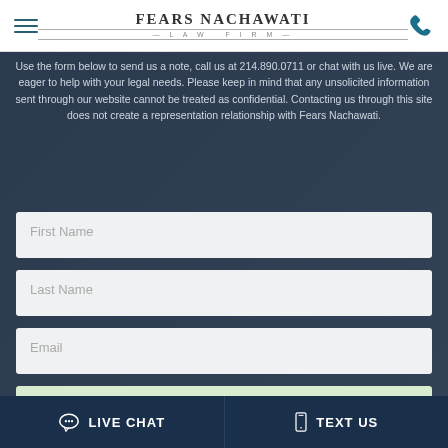FEARS NACHAWATI LAW FIRM
Use the form below to send us a note, call us at 214.890.0711 or chat with us live. We are eager to help with your legal needs. Please keep in mind that any unsolicited information sent through our website cannot be treated as confidential. Contacting us through this site does not create a representation relationship with Fears Nachawati.
[Figure (other): First Name input field]
[Figure (other): Last Name input field]
[Figure (other): Email input field]
[Figure (illustration): Chat bubble icons on light green background]
LIVE CHAT
TEXT US